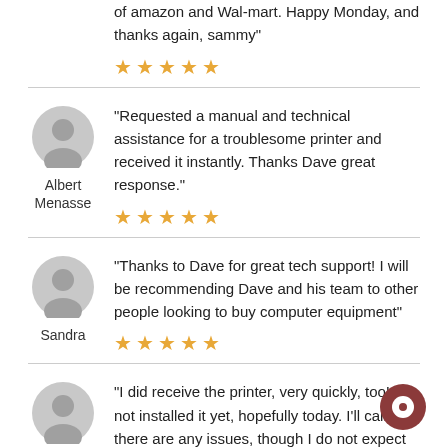of amazon and Wal-mart. Happy Monday, and thanks again, sammy"
★★★★★
"Requested a manual and technical assistance for a troublesome printer and received it instantly. Thanks Dave great response."
Albert Menasse
★★★★★
"Thanks to Dave for great tech support! I will be recommending Dave and his team to other people looking to buy computer equipment"
Sandra
★★★★★
"I did receive the printer, very quickly, too! I've not installed it yet, hopefully today. I'll call if there are any issues, though I do not expect
Kirsten Lacy